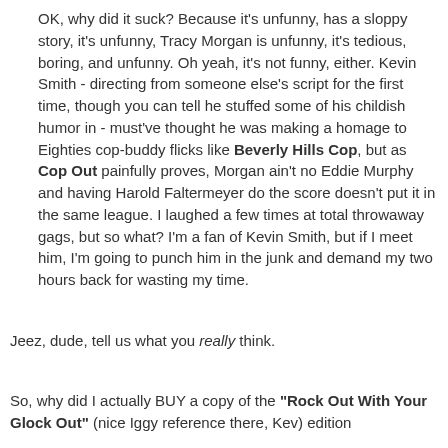OK, why did it suck? Because it's unfunny, has a sloppy story, it's unfunny, Tracy Morgan is unfunny, it's tedious, boring, and unfunny. Oh yeah, it's not funny, either. Kevin Smith - directing from someone else's script for the first time, though you can tell he stuffed some of his childish humor in - must've thought he was making a homage to Eighties cop-buddy flicks like Beverly Hills Cop, but as Cop Out painfully proves, Morgan ain't no Eddie Murphy and having Harold Faltermeyer do the score doesn't put it in the same league. I laughed a few times at total throwaway gags, but so what? I'm a fan of Kevin Smith, but if I meet him, I'm going to punch him in the junk and demand my two hours back for wasting my time.
Jeez, dude, tell us what you really think.
So, why did I actually BUY a copy of the "Rock Out With Your Glock Out" (nice Iggy reference there, Kev) edition